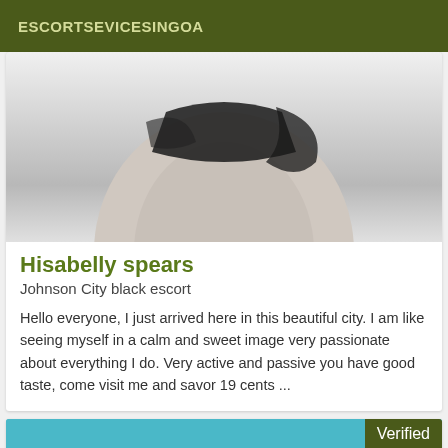ESCORTSEVICESINGOA
[Figure (photo): Black and white photo of a person's torso in dark lingerie/swimwear, cropped]
Hisabelly spears
Johnson City black escort
Hello everyone, I just arrived here in this beautiful city. I am like seeing myself in a calm and sweet image very passionate about everything I do. Very active and passive you have good taste, come visit me and savor 19 cents ...
[Figure (photo): Photo of a person with dark hair against a light blue background, with a 'Verified' badge overlay]